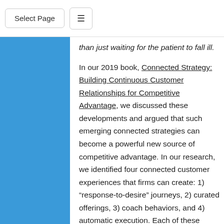Select Page
than just waiting for the patient to fall ill.
In our 2019 book, Connected Strategy: Building Continuous Customer Relationships for Competitive Advantage, we discussed these developments and argued that such emerging connected strategies can become a powerful new source of competitive advantage. In our research, we identified four connected customer experiences that firms can create: 1) “response-to-desire” journeys, 2) curated offerings, 3) coach behaviors, and 4) automatic execution. Each of these experiences can help turn episodic interactions into continuous relationships.
In a “response-to-desire” experience, a customer knows precisely what she plans to buy